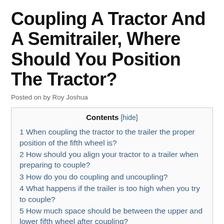Coupling A Tractor And A Semitrailer, Where Should You Position The Tractor?
Posted on by Roy Joshua
| Contents [hide] |
| --- |
| 1 When coupling the tractor to the trailer the proper position of the fifth wheel is? |
| 2 How should you align your tractor to a trailer when preparing to couple? |
| 3 How do you do coupling and uncoupling? |
| 4 What happens if the trailer is too high when you try to couple? |
| 5 How much space should be between the upper and lower fifth wheel after coupling? |
| 6 When you get ready to back under the semi trailer you |